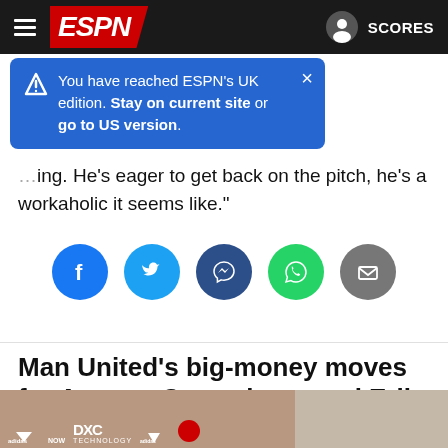ESPN — SCORES
You have reached ESPN's UK edition. Stay on current site or go to US version.
ing. He's eager to get back on the pitch, he's a workaholic it seems like."
[Figure (infographic): Social sharing icons: Facebook, Twitter, Messenger, WhatsApp, Email]
Man United's big-money moves for Antony, Casemiro reveal Erik ten Hag's growing authority
[Figure (photo): Bottom strip showing Antony in Adidas/Manchester United kit with DXC Technology branding, and Erik ten Hag on the right]